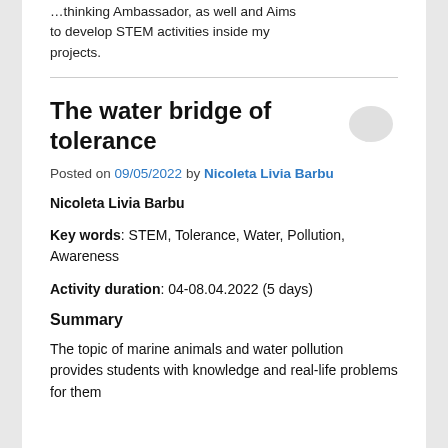…thinking Ambassador, as well and Aims to develop STEM activities inside my projects.
The water bridge of tolerance
Posted on 09/05/2022 by Nicoleta Livia Barbu
Nicoleta Livia Barbu
Key words: STEM, Tolerance, Water, Pollution, Awareness
Activity duration: 04-08.04.2022 (5 days)
Summary
The topic of marine animals and water pollution provides students with knowledge and real-life problems for them